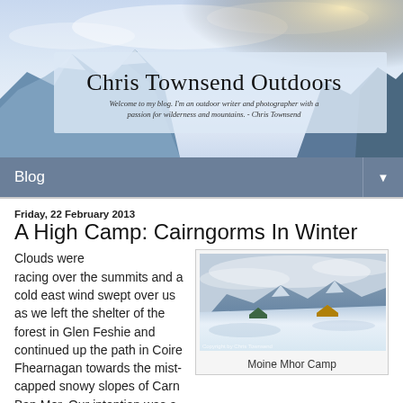[Figure (photo): Chris Townsend Outdoors website banner — mountains in snow and clouds with large site title text and subtitle tagline]
Blog ▼
Friday, 22 February 2013
A High Camp: Cairngorms In Winter
[Figure (photo): Panoramic photo of snowy mountain plateau Moine Mhor Camp with two tents (green and yellow/orange) set on snow, mountains in background under cloudy sky. Copyright Chris Townsend.]
Moine Mhor Camp
Clouds were racing over the summits and a cold east wind swept over us as we left the shelter of the forest in Glen Feshie and continued up the path in Coire Fhearnagan towards the mist-capped snowy slopes of Carn Ban Mor. Our intention was a high camp on the Moine Mhor, a vast rolling mountain plateau, which Terry Abraham wanted to film for the Cairngorms in Winter video. The forecast was for the wind to